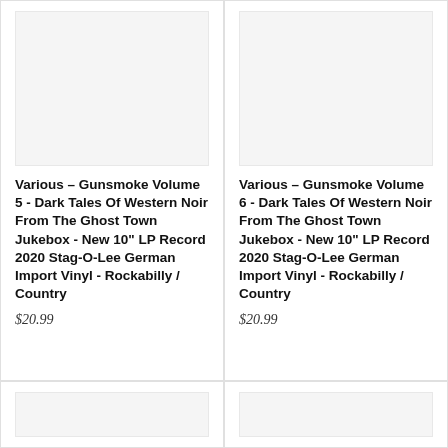[Figure (photo): Product image placeholder for Various Gunsmoke Volume 5 vinyl record, light gray background]
Various – Gunsmoke Volume 5 - Dark Tales Of Western Noir From The Ghost Town Jukebox - New 10" LP Record 2020 Stag-O-Lee German Import Vinyl - Rockabilly / Country
$20.99
[Figure (photo): Product image placeholder for Various Gunsmoke Volume 6 vinyl record, light gray background]
Various – Gunsmoke Volume 6 - Dark Tales Of Western Noir From The Ghost Town Jukebox - New 10" LP Record 2020 Stag-O-Lee German Import Vinyl - Rockabilly / Country
$20.99
[Figure (photo): Product image placeholder bottom left, light gray background]
[Figure (photo): Product image placeholder bottom right, light gray background]